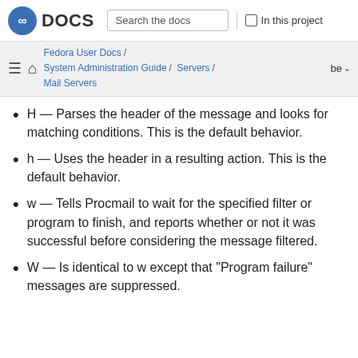Fedora DOCS | Search the docs | In this project
Fedora User Docs / System Administration Guide / Servers / Mail Servers | be
H — Parses the header of the message and looks for matching conditions. This is the default behavior.
h — Uses the header in a resulting action. This is the default behavior.
w — Tells Procmail to wait for the specified filter or program to finish, and reports whether or not it was successful before considering the message filtered.
W — Is identical to w except that "Program failure" messages are suppressed.